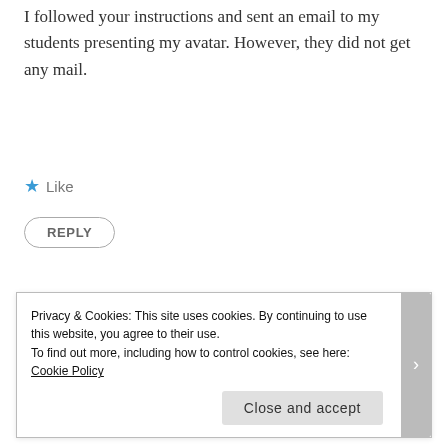I followed your instructions and sent an email to my students presenting my avatar. However, they did not get any mail.
★ Like
REPLY
Ashley Chaney
FEBRUARY 21, 2012 AT 3:19 PM
Please make sure your students add
Privacy & Cookies: This site uses cookies. By continuing to use this website, you agree to their use.
To find out more, including how to control cookies, see here: Cookie Policy
Close and accept